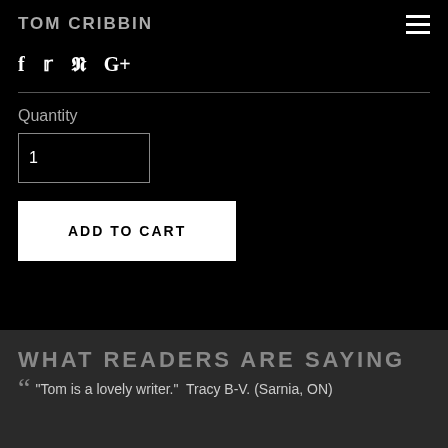TOM CRIBBIN
f  ✓  p  G+
Quantity
1
ADD TO CART
WHAT READERS ARE SAYING
“Tom is a lovely writer.”  Tracy B-V. (Sarnia, ON)